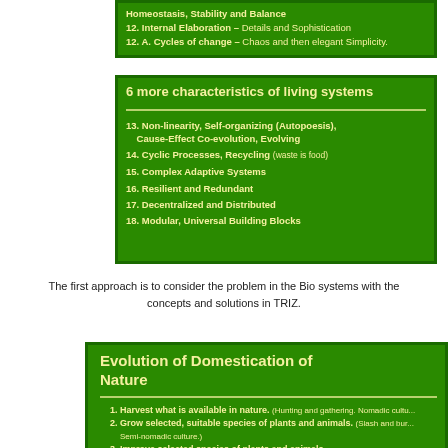Homeostasis, Stability and Balance
12. Internal Elaboration – Details and Sophistication
12. A. Cycles of change – Chaos and then elegant Simplicity.
6 more characteristics of living systems
13. Non-linearity, Self-organizing (Autopoesis), Cause-Effect Co-evolution, Evolving
14. Cyclic Processes, Recycling (waste is food)
15. Complex Adaptive Systems
16. Resilient and Redundant
17. Decentralized and Distributed
18. Modular, Universal Building Blocks
The first approach is to consider the problem in the Bio systems with the concepts and solutions in TRIZ.
Evolution of Domestication of Nature
1. Harvest what is available in nature. (Hunting and gathering. Nomadic culture)
2. Grow selected, suitable species of plants and animals. (Slash and burn. Semi-nomadic culture.)
3. Improve selected species of plants and animals.